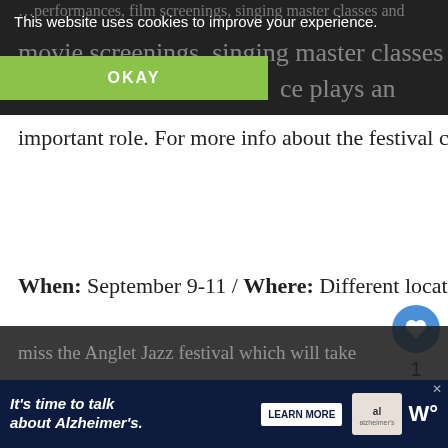This website uses cookies to improve your experience.
OKAY
important role.  For more info about the festival click here.
When: September 9-11 / Where: Different locations in Saint Emilion
Anglet Jazz Festival
If you don't mind traveling a bit south ... miss the Anglet Jazz festival which will take
It's time to talk about Alzheimer's.
LEARN MORE
WHAT'S NEXT → Things to do in Bordeaux ...